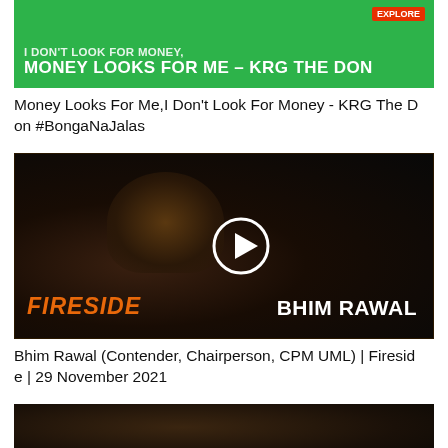[Figure (photo): Green banner thumbnail with text: I DON'T LOOK FOR MONEY, MONEY LOOKS FOR ME - KRG THE DON]
Money Looks For Me,I Don't Look For Money - KRG The Don #BongaNaJalas
[Figure (photo): Video thumbnail showing Bhim Rawal wearing traditional Nepali cap against dark background. Play button overlay. Text: FIRESIDE and BHIM RAWAL]
Bhim Rawal (Contender, Chairperson, CPM UML) | Fireside | 29 November 2021
[Figure (photo): Partial thumbnail at bottom of page, dark toned image partially visible]